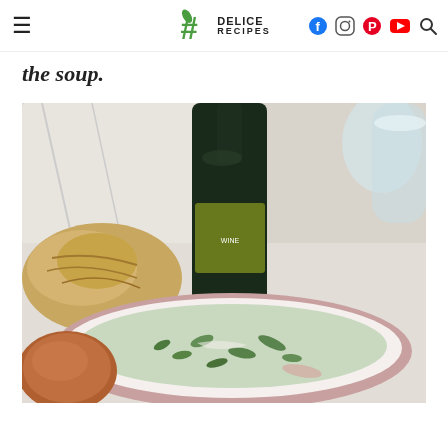Delice Recipes — navigation header with logo and social icons
the soup.
[Figure (photo): A bowl of creamy green soup (appears to be a spinach or herb cream soup) in a white bowl with a red rim, accompanied by a copper ladle on the left, rustic bread in the background-left, a dark wine bottle in the center-back, and a glass of white wine on the right. Set on a white linen tablecloth.]